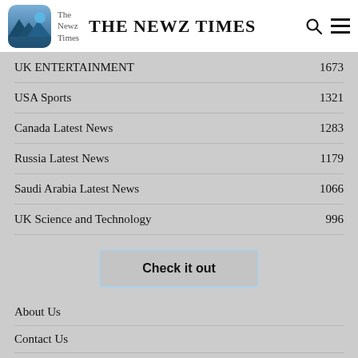THE NEWZ TIMES
UK ENTERTAINMENT  1673
USA Sports  1321
Canada Latest News  1283
Russia Latest News  1179
Saudi Arabia Latest News  1066
UK Science and Technology  996
Check it out
About Us
Contact Us
Privacy Policy